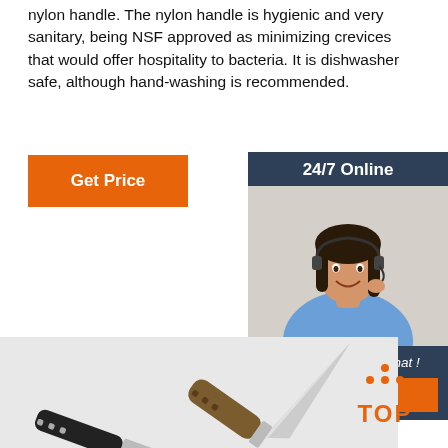nylon handle. The nylon handle is hygienic and very sanitary, being NSF approved as minimizing crevices that would offer hospitality to bacteria. It is dishwasher safe, although hand-washing is recommended.
[Figure (other): Orange 'Get Price' button]
[Figure (other): 24/7 Online chat widget with customer service representative photo, 'Click here for free chat!' text, and orange QUOTATION button]
[Figure (photo): Two pocket/folding knives with wooden and dark handles on a light grey background]
[Figure (other): Orange and white TOP badge/icon with dots forming an upward triangle shape]